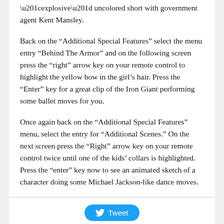“explosive” uncolored short with government agent Kent Mansley.
Back on the “Additional Special Features” select the menu entry “Behind The Armor” and on the following screen press the “right” arrow key on your remote control to highlight the yellow bow in the girl’s hair. Press the “Enter” key for a great clip of the Iron Giant performing some ballet moves for you.
Once again back on the “Additional Special Features” menu, select the entry for “Additional Scenes.” On the next screen press the “Right” arrow key on your remote control twice until one of the kids’ collars is highlighted. Press the “enter” key now to see an animated sketch of a character doing some Michael Jackson-like dance moves.